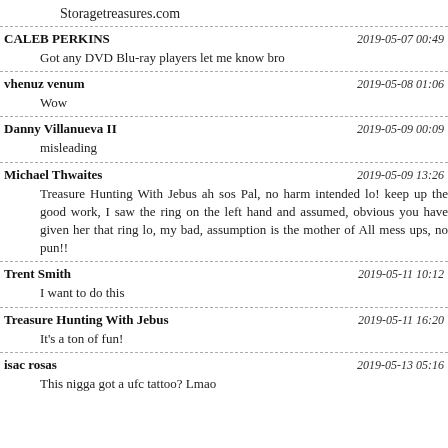Storagetreasures.com
CALEB PERKINS | 2019-05-07 00:49
Got any DVD Blu-ray players let me know bro
vhenuz venum | 2019-05-08 01:06
Wow
Danny Villanueva II | 2019-05-09 00:09
misleading
Michael Thwaites | 2019-05-09 13:26
Treasure Hunting With Jebus ah sos Pal, no harm intended lo! keep up the good work, I saw the ring on the left hand and assumed, obvious you have given her that ring lo, my bad, assumption is the mother of All mess ups, no pun!!
Trent Smith | 2019-05-11 10:12
I want to do this
Treasure Hunting With Jebus | 2019-05-11 16:20
It's a ton of fun!
isac rosas | 2019-05-13 05:16
This nigga got a ufc tattoo? Lmao